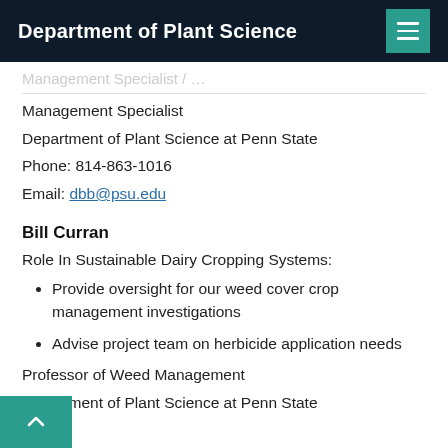Department of Plant Science
Management Specialist
Department of Plant Science at Penn State
Phone: 814-863-1016
Email: dbb@psu.edu
Bill Curran
Role In Sustainable Dairy Cropping Systems:
Provide oversight for our weed cover crop management investigations
Advise project team on herbicide application needs
Professor of Weed Management
Department of Plant Science at Penn State